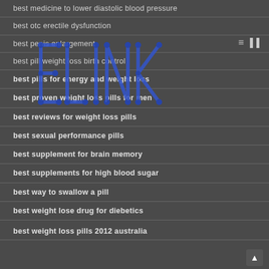best medicine to lower diastolic blood pressure
[Figure (logo): ELINK logo in blue chain-link styled letters]
best otc erectile dysfunction
best penis enlargement
best pill weight loss birth control
best pills for energy and weight loss
best proven weight loss pills for men
best reviews for weight loss pills
best sexual performance pills
best supplement for brain memory
best supplements for high blood sugar
best way to swallow a pill
best weight lose drug for diebetics
best weight loss pills 2012 australia